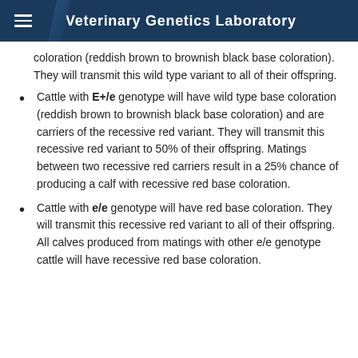Veterinary Genetics Laboratory
coloration (reddish brown to brownish black base coloration). They will transmit this wild type variant to all of their offspring.
Cattle with E+/e genotype will have wild type base coloration (reddish brown to brownish black base coloration) and are carriers of the recessive red variant. They will transmit this recessive red variant to 50% of their offspring. Matings between two recessive red carriers result in a 25% chance of producing a calf with recessive red base coloration.
Cattle with e/e genotype will have red base coloration. They will transmit this recessive red variant to all of their offspring. All calves produced from matings with other e/e genotype cattle will have recessive red base coloration.